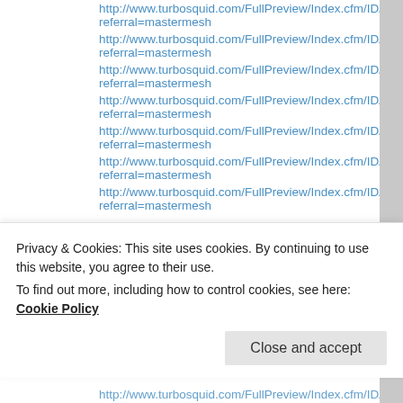http://www.turbosquid.com/FullPreview/Index.cfm/ID/221639scrapes referral=mastermesh
http://www.turbosquid.com/FullPreview/Index.cfm/ID/221640scrapes referral=mastermesh
http://www.turbosquid.com/FullPreview/Index.cfm/ID/221641scrapes referral=mastermesh
http://www.turbosquid.com/FullPreview/Index.cfm/ID/222360cloud00 referral=mastermesh
http://www.turbosquid.com/FullPreview/Index.cfm/ID/222361cloud00 referral=mastermesh
http://www.turbosquid.com/FullPreview/Index.cfm/ID/222362cloud00 referral=mastermesh
http://www.turbosquid.com/FullPreview/Index.cfm/ID/222363cloud00 referral=mastermesh
Privacy & Cookies: This site uses cookies. By continuing to use this website, you agree to their use.
To find out more, including how to control cookies, see here: Cookie Policy
Close and accept
http://www.turbosquid.com/FullPreview/Index.cfm/ID/22236...00